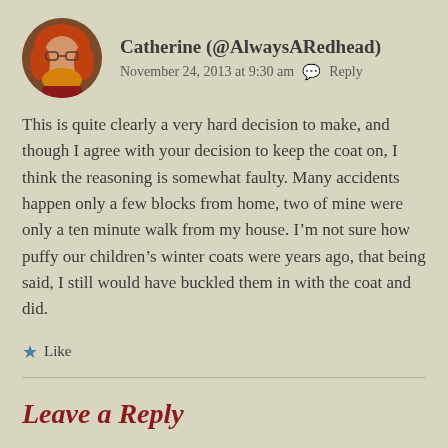[Figure (photo): Circular avatar photo of a woman with red hair and glasses]
Catherine (@AlwaysARedhead)
November 24, 2013 at 9:30 am  Reply
This is quite clearly a very hard decision to make, and though I agree with your decision to keep the coat on, I think the reasoning is somewhat faulty. Many accidents happen only a few blocks from home, two of mine were only a ten minute walk from my house. I'm not sure how puffy our children's winter coats were years ago, that being said, I still would have buckled them in with the coat and did.
Like
Leave a Reply